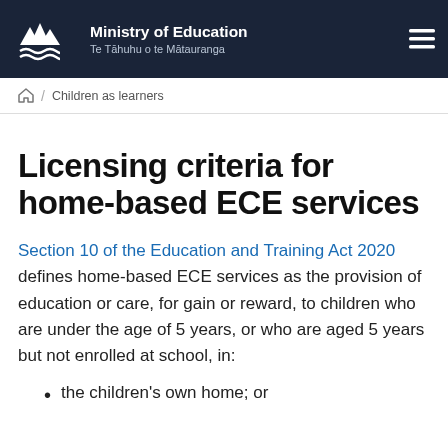Ministry of Education
Te Tāhuhu o te Mātauranga
Children as learners
Licensing criteria for home-based ECE services
Section 10 of the Education and Training Act 2020  defines home-based ECE services as the provision of education or care, for gain or reward, to children who are under the age of 5 years, or who are aged 5 years but not enrolled at school, in:
the children's own home; or